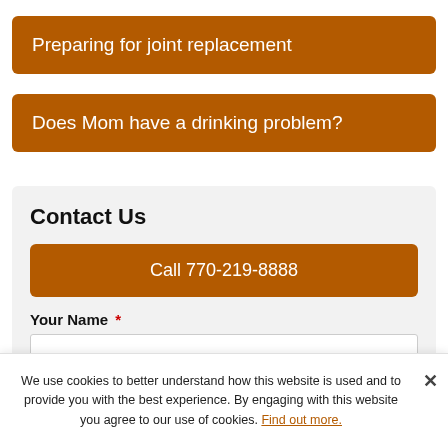Preparing for joint replacement
Does Mom have a drinking problem?
Contact Us
Call 770-219-8888
Your Name *
Your Email
We use cookies to better understand how this website is used and to provide you with the best experience. By engaging with this website you agree to our use of cookies. Find out more.